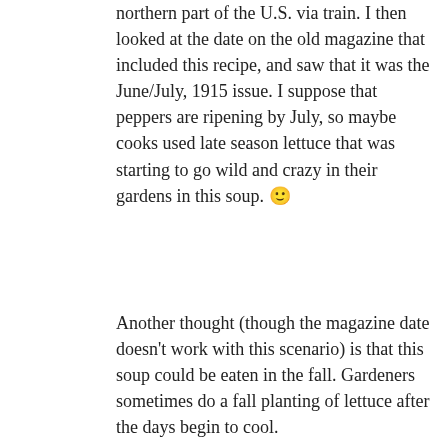northern part of the U.S. via train. I then looked at the date on the old magazine that included this recipe, and saw that it was the June/July, 1915 issue. I suppose that peppers are ripening by July, so maybe cooks used late season lettuce that was starting to go wild and crazy in their gardens in this soup. 🙂
Another thought (though the magazine date doesn't work with this scenario) is that this soup could be eaten in the fall. Gardeners sometimes do a fall planting of lettuce after the days begin to cool.
↳ Reply
TASTY EATS RONIT PENSO
June 6, 2016 at 9:31 am